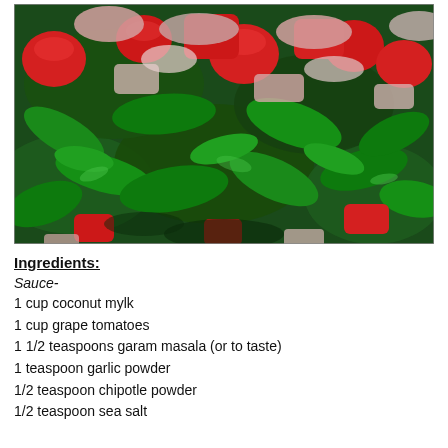[Figure (photo): Close-up photo of sautéed spinach leaves with chopped red tomatoes and diced onions in a pan]
Ingredients:
Sauce-
1 cup coconut mylk
1 cup grape tomatoes
1 1/2 teaspoons garam masala (or to taste)
1 teaspoon garlic powder
1/2 teaspoon chipotle powder
1/2 teaspoon sea salt